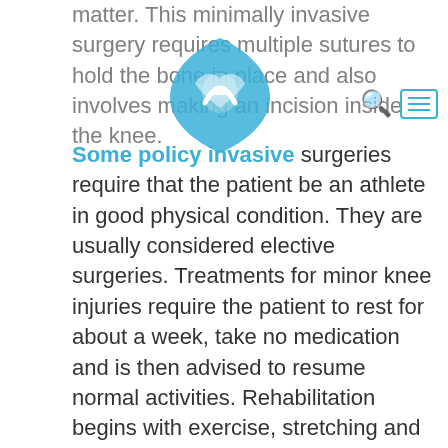matter. This minimally invasive surgery requires multiple sutures to hold the bone in place and also involves making an incision inside the knee.
[Figure (logo): Blue shield/heart shaped logo with medical cross symbol overlaid on top portion of page]
Some policy invasive
Some policy invasive surgeries require that the patient be an athlete in good physical condition. They are usually considered elective surgeries. Treatments for minor knee injuries require the patient to rest for about a week, take no medication and is then advised to resume normal activities. Rehabilitation begins with exercise, stretching and strengthening exercises to increase strength and rebuild the knee. If the injury is quite severe, a brace may be placed on the knee to further restrict movement. Knee braces are not always necessary, but many physicians feel they help injured patients get back into the game much easier. As you can see, minimally invasive surgery is not only used by athletes and other serious sportsmen. Even recreational sportsmen can benefit from this type of